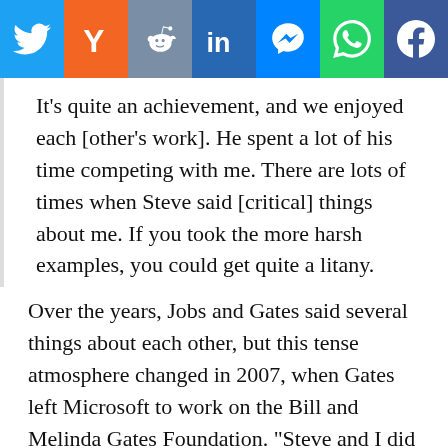[Figure (other): Social media share bar with seven buttons: Twitter (blue), Hacker News Y (orange), Reddit (gray-blue), LinkedIn (blue), Messenger (blue), WhatsApp (green), Facebook (dark blue)]
It’s quite an achievement, and we enjoyed each [other’s work]. He spent a lot of his time competing with me. There are lots of times when Steve said [critical] things about me. If you took the more harsh examples, you could get quite a litany.
Over the years, Jobs and Gates said several things about each other, but this tense atmosphere changed in 2007, when Gates left Microsoft to work on the Bill and Melinda Gates Foundation. “Steve and I did an event together, and he couldn’t have been nicer.”
In the last year of his life, Jobs had several meetings with Gates, where as Gates says, they “spent literally hours reminiscing and talking about the future.” Shortly before